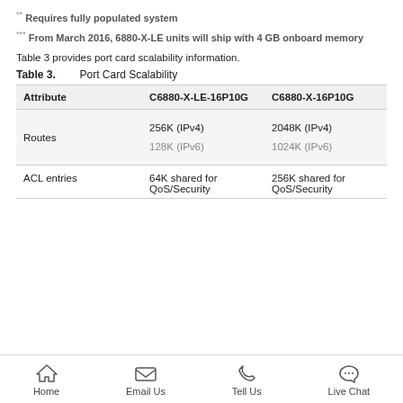** Requires fully populated system
*** From March 2016, 6880-X-LE units will ship with 4 GB onboard memory
Table 3 provides port card scalability information.
Table 3.    Port Card Scalability
| Attribute | C6880-X-LE-16P10G | C6880-X-16P10G |
| --- | --- | --- |
| Routes | 256K (IPv4)
128K (IPv6) | 2048K (IPv4)
1024K (IPv6) |
| ACL entries | 64K shared for QoS/Security | 256K shared for QoS/Security |
Home | Email Us | Tell Us | Live Chat